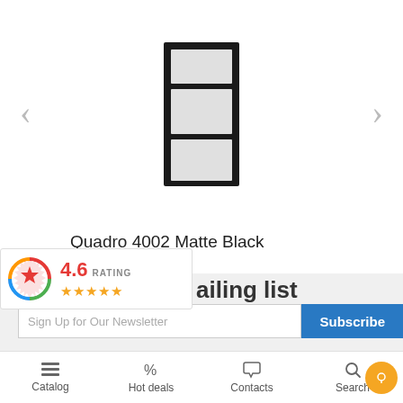[Figure (photo): Product image of Quadro 4002 Matte Black door/window in black frame with frosted glass panes, shown in a carousel with left and right navigation arrows]
Quadro 4002 Matte Black
$612.00
[Figure (other): Loading spinner (circular animated indicator) shown in gray]
[Figure (infographic): Rating widget showing 4.6 RATING with 4.5 gold stars and a colorful gear/badge icon]
ailing list
Sign Up for Our Newsletter
Subscribe
Catalog
Hot deals
Contacts
Search